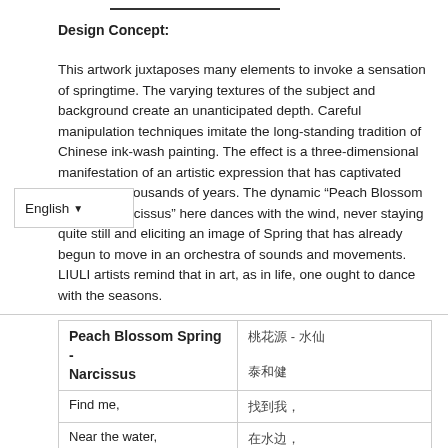Design Concept:
This artwork juxtaposes many elements to invoke a sensation of springtime.  The varying textures of the subject and background create an unanticipated depth.  Careful manipulation techniques imitate the long-standing on of Chinese ink-wash painting.  The effect is a three-dimensional manifestation of an artistic expression that has captivated people for thousands of years.  The dynamic “Peach Blossom Spring – Narcissus” here dances with the wind, never staying quite still and eliciting an image of Spring that has already begun to move in an orchestra of sounds and movements.  LIULI artists remind that in art, as in life, one ought to dance with the seasons.
| Peach Blossom Spring - Narcissus | 桃花源记 - 水仙 |
|  | 泰和健 |
| Find me, | 找到我， |
| Near the water, | 在水边， |